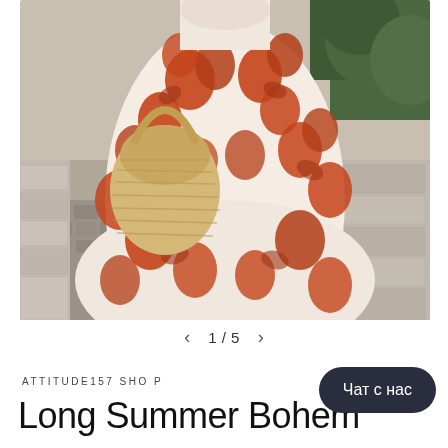[Figure (photo): Woman wearing a long boho floral maxi dress in orange/terracotta and white floral print, holding a woven straw basket bag, standing on cobblestone pavement with stone steps in background.]
< 1 / 5 >
ATTITUDE157 SHOP
Long Summer Bohem… ess
Чат с нас